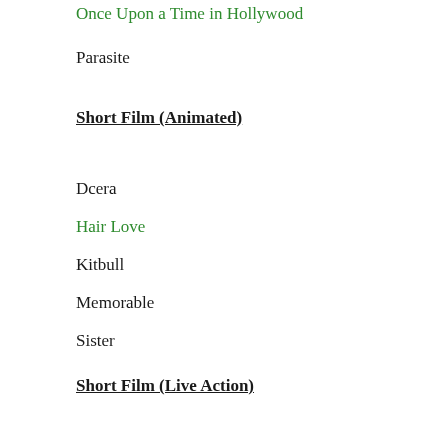Once Upon a Time in Hollywood
Parasite
Short Film (Animated)
Dcera
Hair Love
Kitbull
Memorable
Sister
Short Film (Live Action)
Brotherhood
Nefta Football Club
The Neighbors' Window
Saria